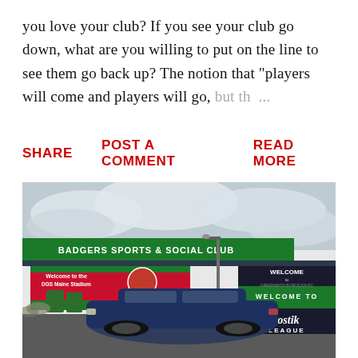you love your club? If you see your club go down, what are you willing to put on the line to see them go back up? The notion that "players will come and players will go, but th ...
SHARE   POST A COMMENT   READ MORE
[Figure (photo): Exterior photo of a non-league football ground. A green-roofed building reads 'BADGERS SPORTS & SOCIAL CLUB'. Red and green signage says 'Welcome to the DGS Maine Stadium / Cray Valley (PM) FC'. A black and dark green sign reads 'WELCOME to GREENWICH BOROUGH FC / WELCOME TO the Bostik LEAGUE'. A dark blue car is parked in front.]